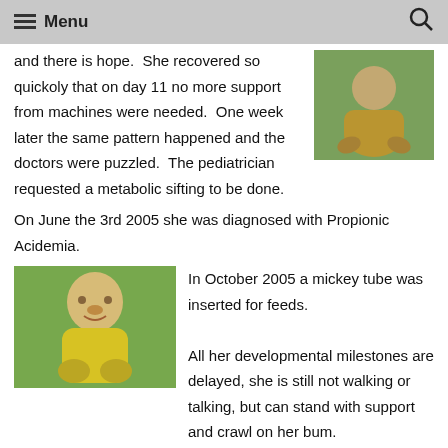Menu
and there is hope.  She recovered so quickoly that on day 11 no more support from machines were needed.  One week later the same pattern happened and the doctors were puzzled.  The pediatrician requested a metabolic sifting to be done.
[Figure (photo): A young child sitting on grass, viewed from above.]
On June the 3rd 2005 she was diagnosed with Propionic Acidemia.
[Figure (photo): A young girl in a yellow shirt smiling, sitting outdoors on grass.]
In October 2005 a mickey tube was inserted for feeds.

All her developmental milestones are delayed, she is still not walking or talking, but can stand with support and crawl on her bum.